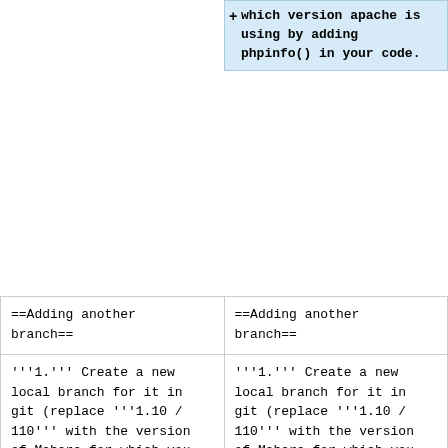+which version apache is using by adding phpinfo() in your code.
| ==Adding another branch== | ==Adding another branch== |
| '''1.''' Create a new local branch for it in git (replace '''1.10 / 110''' with the version of Mahara for which you want to add a branch) | '''1.''' Create a new local branch for it in git (replace '''1.10 / 110''' with the version of Mahara for which you want to add a branch) |
| - <source lang="bash" enclose="div"> | + <syntaxhighlight lang="bash"> |
| $ cd ~/code/mahara | $ cd ~/code/mahara |
| $ git checkout -t origin/1.10_STABLE | $ git checkout -t origin/1.10_STABLE |